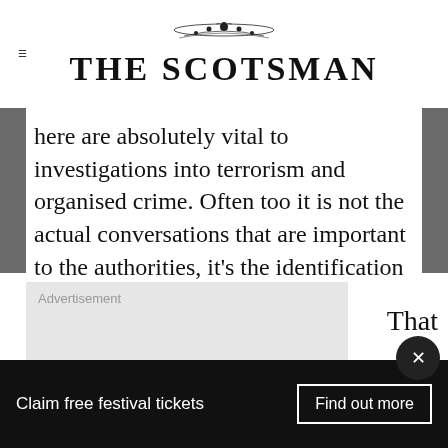THE SCOTSMAN
here are absolutely vital to investigations into terrorism and organised crime. Often too it is not the actual conversations that are important to the authorities, it's the identification of the links between people that tells investigators what they need to know about who is involved.
[Figure (other): Advertisement banner with shopping icon, checkmark, 'In-store shopping' text, and navigation arrow icon]
That
[Figure (other): Bottom banner: 'Claim free festival tickets' with 'Find out more' button and close X button]